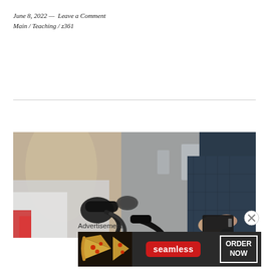June 8, 2022 — Leave a Comment
Main / Teaching / z361
[Figure (photo): Person in dark blue quilted jacket pumping gas into a vehicle, holding an open wallet, blurred outdoor background]
Advertisements
[Figure (photo): Seamless food delivery advertisement showing pizza slices on the left with Seamless logo and ORDER NOW button on dark background]